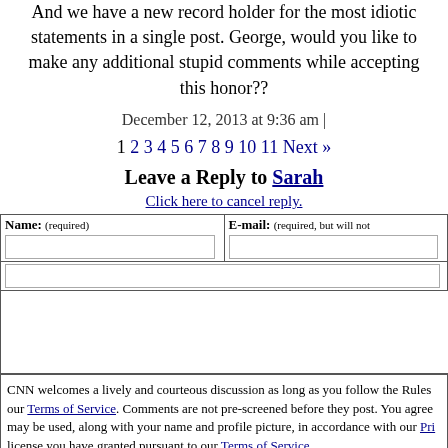And we have a new record holder for the most idiotic statements in a single post. George, would you like to make any additional stupid comments while accepting this honor??
December 12, 2013 at 9:36 am |
1 2 3 4 5 6 7 8 9 10 11 Next »
Leave a Reply to Sarah
Click here to cancel reply.
CNN welcomes a lively and courteous discussion as long as you follow the Rules our Terms of Service. Comments are not pre-screened before they post. You agree may be used, along with your name and profile picture, in accordance with our Pri license you have granted pursuant to our Terms of Service.